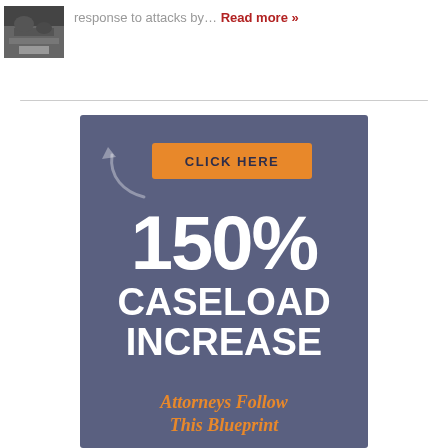[Figure (photo): Small thumbnail image of what appears to be an animal or outdoor scene]
response to attacks by… Read more »
[Figure (infographic): Advertisement banner with dark blue-gray background. Orange 'CLICK HERE' button at top with curved arrow. Large white text reads '150% CASELOAD INCREASE'. Orange italic text reads 'Attorneys Follow This Blueprint']